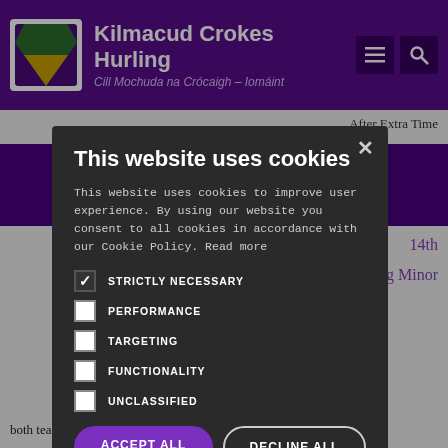Kilmacud Crokes Hurling | Cill Mochuda na Crócaigh – Iomáint
After Extra Time
AFTER
14th
Hurling Minor
B's finished epic fashion tra Time in hip semi final.
both teams served up a fine competitive encounter. In the first half
[Figure (screenshot): Cookie consent modal dialog over the Kilmacud Crokes Hurling website. Modal has title 'This website uses cookies', description text, checkboxes for STRICTLY NECESSARY (checked), PERFORMANCE, TARGETING, FUNCTIONALITY, UNCLASSIFIED (all unchecked), ACCEPT ALL and DECLINE ALL buttons, and SHOW DETAILS link.]
This website uses cookies
This website uses cookies to improve user experience. By using our website you consent to all cookies in accordance with our Cookie Policy. Read more
STRICTLY NECESSARY
PERFORMANCE
TARGETING
FUNCTIONALITY
UNCLASSIFIED